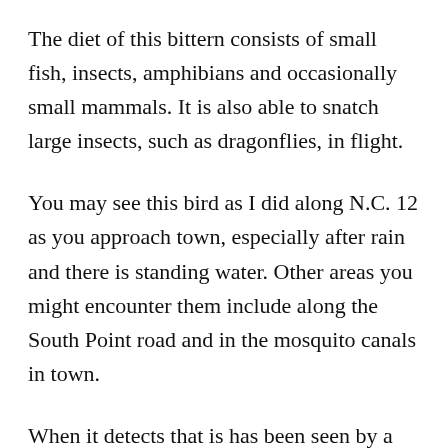The diet of this bittern consists of small fish, insects, amphibians and occasionally small mammals. It is also able to snatch large insects, such as dragonflies, in flight.
You may see this bird as I did along N.C. 12 as you approach town, especially after rain and there is standing water. Other areas you might encounter them include along the South Point road and in the mosquito canals in town.
When it detects that is has been seen by a potential predator, a bittern will freeze after pointing its bill